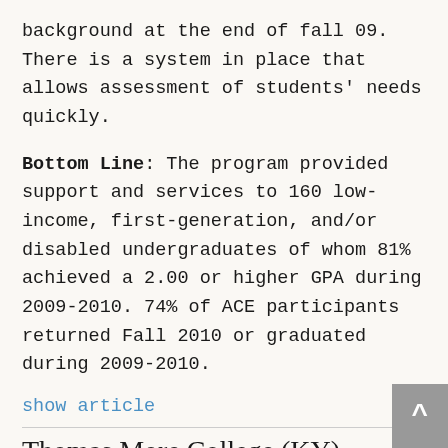background at the end of fall 09. There is a system in place that allows assessment of students' needs quickly.
Bottom Line: The program provided support and services to 160 low-income, first-generation, and/or disabled undergraduates of whom 81% achieved a 2.00 or higher GPA during 2009-2010. 74% of ACE participants returned Fall 2010 or graduated during 2009-2010.
show article
Thomas More College (KY)
ACHIEVE/CAP